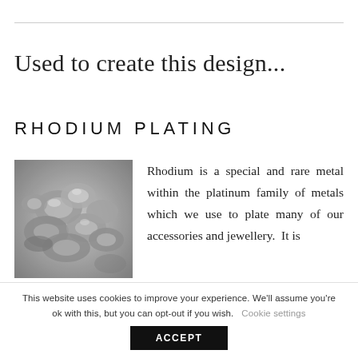Used to create this design...
RHODIUM PLATING
[Figure (photo): Close-up black and white photograph of rhodium metal nuggets/pellets with a metallic sheen]
Rhodium is a special and rare metal within the platinum family of metals which we use to plate many of our accessories and jewellery.  It is
This website uses cookies to improve your experience. We'll assume you're ok with this, but you can opt-out if you wish.  Cookie settings  ACCEPT